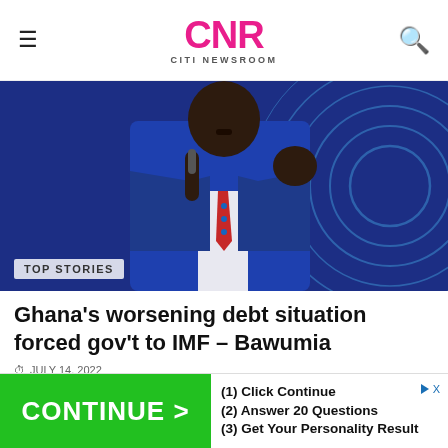CNR CITI NEWSROOM
[Figure (photo): A man in a blue suit and red tie speaking into a microphone against a dark blue background with glowing circular patterns. A 'TOP STORIES' badge appears at the bottom left of the image.]
Ghana's worsening debt situation forced gov't to IMF – Bawumia
JULY 14, 2022
[Figure (infographic): Green advertisement banner with 'CONTINUE >' button on the left and three steps: (1) Click Continue, (2) Answer 20 Questions, (3) Get Your Personality Result on the right.]